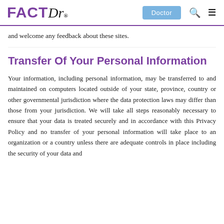FACTDr® | Doctor | Search | Menu
and welcome any feedback about these sites.
Transfer Of Your Personal Information
Your information, including personal information, may be transferred to and maintained on computers located outside of your state, province, country or other governmental jurisdiction where the data protection laws may differ than those from your jurisdiction. We will take all steps reasonably necessary to ensure that your data is treated securely and in accordance with this Privacy Policy and no transfer of your personal information will take place to an organization or a country unless there are adequate controls in place including the security of your data and